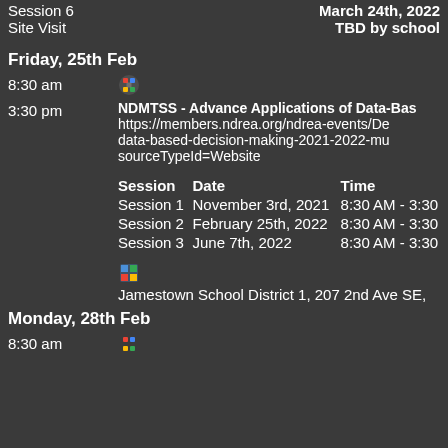Session 6    March 24th, 2022
Site Visit    TBD by school
Friday, 25th Feb
8:30 am  [Google icon]
3:30 pm  NDMTSS - Advance Applications of Data-Based Decision Making https://members.ndrea.org/ndrea-events/De data-based-decision-making-2021-2022-mu sourceTypeId=Website
| Session | Date | Time |
| --- | --- | --- |
| Session 1 | November 3rd, 2021 | 8:30 AM - 3:30 |
| Session 2 | February 25th, 2022 | 8:30 AM - 3:30 |
| Session 3 | June 7th, 2022 | 8:30 AM - 3:30 |
[Figure (logo): Map/location pin icon]
Jamestown School District 1, 207 2nd Ave SE,
Monday, 28th Feb
8:30 am  [Google icon]